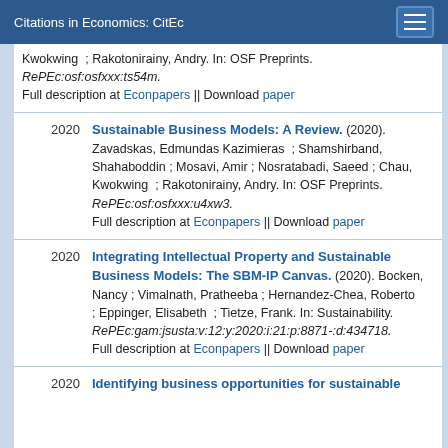Citations in Economics: CitEc
Kwokwing ; Rakotonirainy, Andry. In: OSF Preprints. RePEc:osf:osfxxx:ts54m. Full description at Econpapers || Download paper
2020 Sustainable Business Models: A Review. (2020). Zavadskas, Edmundas Kazimieras ; Shamshirband, Shahaboddin ; Mosavi, Amir ; Nosratabadi, Saeed ; Chau, Kwokwing ; Rakotonirainy, Andry. In: OSF Preprints. RePEc:osf:osfxxx:u4xw3. Full description at Econpapers || Download paper
2020 Integrating Intellectual Property and Sustainable Business Models: The SBM-IP Canvas. (2020). Bockeni, Nancy ; Vimalnath, Pratheeba ; Hernandez-Chea, Roberto ; Eppinger, Elisabeth ; Tietze, Frank. In: Sustainability. RePEc:gam:jsusta:v:12:y:2020:i:21:p:8871-:d:434718. Full description at Econpapers || Download paper
2020 Identifying business opportunities for sustainable